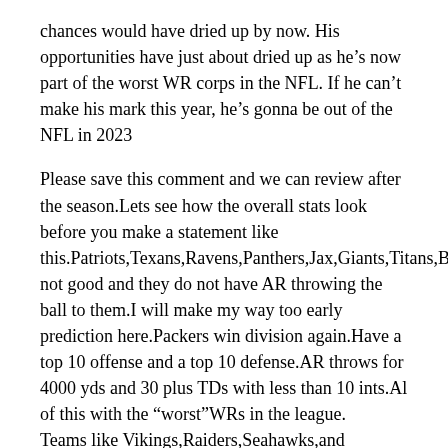chances would have dried up by now. His opportunities have just about dried up as he’s now part of the worst WR corps in the NFL. If he can’t make his mark this year, he’s gonna be out of the NFL in 2023
Please save this comment and we can review after the season.Lets see how the overall stats look before you make a statement like this.Patriots,Texans,Ravens,Panthers,Jax,Giants,Titans,Bears,Jets,WRs not good and they do not have AR throwing the ball to them.I will make my way too early prediction here.Packers win division again.Have a top 10 offense and a top 10 defense.AR throws for 4000 yds and 30 plus TDs with less than 10 ints.Al of this with the “worst”WRs in the league.
Teams like Vikings,Raiders,Seahawks,and Dolphins who are supposed to have great WRs do not make playoffs.All about the QB not the WRs.How many SBs did Moss win?The Vikings might have had the best trio of WRs in history when Moss,Carter, and Reed were playing together.No SBs no SB